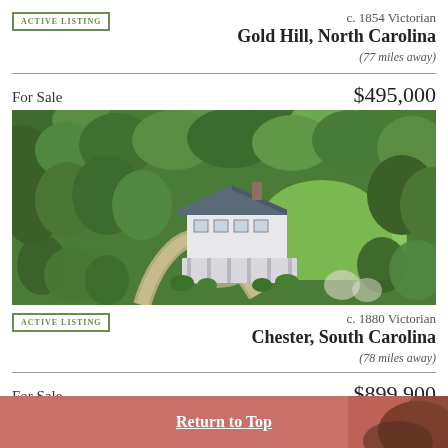ACTIVE LISTING
c. 1854 Victorian
Gold Hill, North Carolina
(77 miles away)
For Sale   $495,000
[Figure (photo): Aerial drone photograph of a Victorian house surrounded by lush green trees, with a circular driveway, green lawn, and dense forest in the background.]
ACTIVE LISTING
c. 1880 Victorian
Chester, South Carolina
(78 miles away)
For Sale   $899,900
Bed & Breakfast
Return to Top